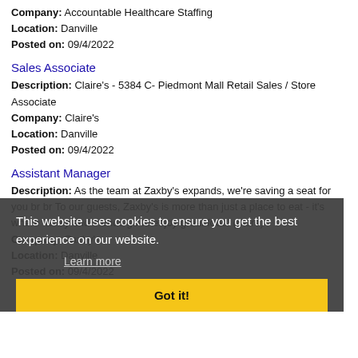Company: Accountable Healthcare Staffing
Location: Danville
Posted on: 09/4/2022
Sales Associate
Description: Claire's - 5384 C- Piedmont Mall Retail Sales / Store Associate
Company: Claire's
Location: Danville
Posted on: 09/4/2022
Assistant Manager
Description: As the team at Zaxby's expands, we're saving a seat for you br br To our guests, Zaxby's is more than just a place to eat - it's where family and friends go to enjoy great food. (more)
Company: Zaxby's
Location: Danville
Posted on: 09/4/2022
This website uses cookies to ensure you get the best experience on our website.
Learn more
Got it!
Salary in Roanoke, Virginia Area | More details for Roanoke, Virginia Jobs |Salary
Restaurant Assistant Manager